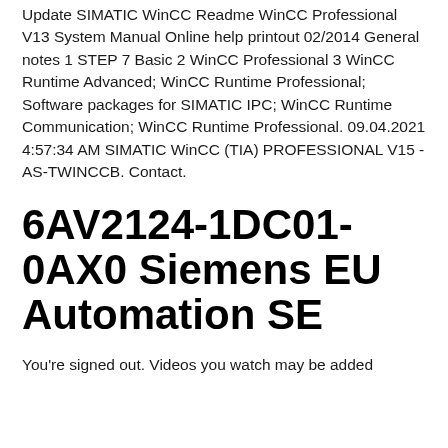Update SIMATIC WinCC Readme WinCC Professional V13 System Manual Online help printout 02/2014 General notes 1 STEP 7 Basic 2 WinCC Professional 3 WinCC Runtime Advanced; WinCC Runtime Professional; Software packages for SIMATIC IPC; WinCC Runtime Communication; WinCC Runtime Professional. 09.04.2021 4:57:34 AM SIMATIC WinCC (TIA) PROFESSIONAL V15 - AS-TWINCCB. Contact.
6AV2124-1DC01-0AX0 Siemens EU Automation SE
You're signed out. Videos you watch may be added